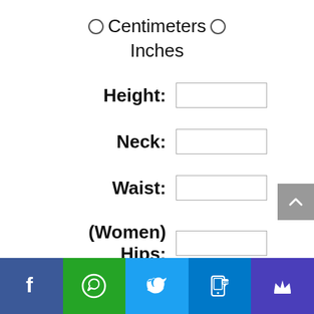○ Centimeters ○
Inches
Height:
Neck:
Waist:
(Women)
Hips:
[Figure (other): Gray scroll-to-top button with caret/chevron up arrow icon on right side]
[Figure (other): Footer social sharing bar with Facebook (dark blue), WhatsApp (green), Twitter (light blue), SMS (blue), and crown/VIP (purple) icons]